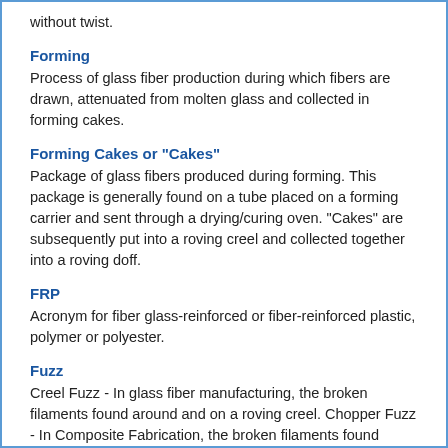without twist.
Forming
Process of glass fiber production during which fibers are drawn, attenuated from molten glass and collected in forming cakes.
Forming Cakes or "Cakes"
Package of glass fibers produced during forming. This package is generally found on a tube placed on a forming carrier and sent through a drying/curing oven. "Cakes" are subsequently put into a roving creel and collected together into a roving doff.
FRP
Acronym for fiber glass-reinforced or fiber-reinforced plastic, polymer or polyester.
Fuzz
Creel Fuzz - In glass fiber manufacturing, the broken filaments found around and on a roving creel. Chopper Fuzz - In Composite Fabrication, the broken filaments found around the glasscutter or chopper. See Fines. In the field, the broken